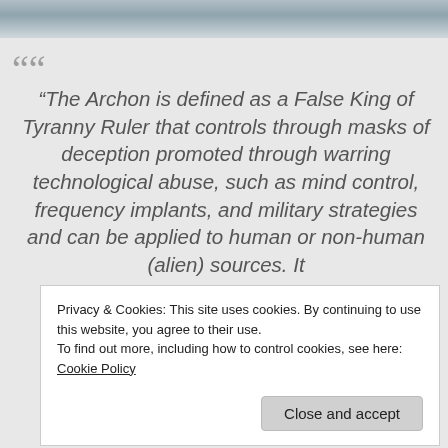[Figure (photo): Cloudy sky photo at the top of the page]
““
“The Archon is defined as a False King of Tyranny Ruler that controls through masks of deception promoted through warring technological abuse, such as mind control, frequency implants, and military strategies and can be applied to human or non-human (alien) sources. It
Privacy & Cookies: This site uses cookies. By continuing to use this website, you agree to their use.
To find out more, including how to control cookies, see here: Cookie Policy
Close and accept
Deception Strategy of the NAA, Through